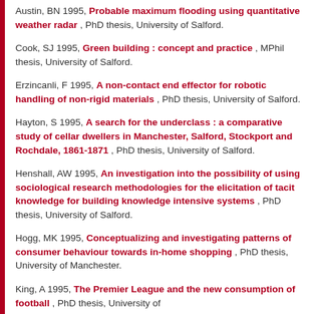Austin, BN 1995, Probable maximum flooding using quantitative weather radar , PhD thesis, University of Salford.
Cook, SJ 1995, Green building : concept and practice , MPhil thesis, University of Salford.
Erzincanli, F 1995, A non-contact end effector for robotic handling of non-rigid materials , PhD thesis, University of Salford.
Hayton, S 1995, A search for the underclass : a comparative study of cellar dwellers in Manchester, Salford, Stockport and Rochdale, 1861-1871 , PhD thesis, University of Salford.
Henshall, AW 1995, An investigation into the possibility of using sociological research methodologies for the elicitation of tacit knowledge for building knowledge intensive systems , PhD thesis, University of Salford.
Hogg, MK 1995, Conceptualizing and investigating patterns of consumer behaviour towards in-home shopping , PhD thesis, University of Manchester.
King, A 1995, The Premier League and the new consumption of football , PhD thesis, University of